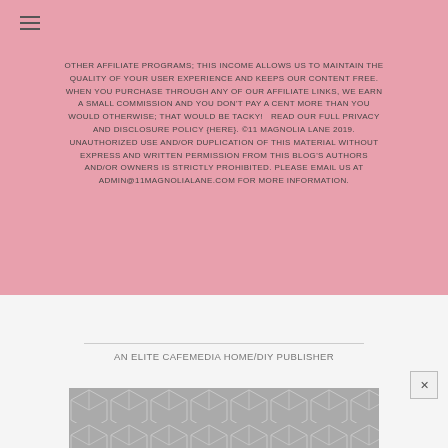[Figure (other): Hamburger menu icon (three horizontal lines) in top-left of pink section]
OTHER AFFILIATE PROGRAMS; THIS INCOME ALLOWS US TO MAINTAIN THE QUALITY OF YOUR USER EXPERIENCE AND KEEPS OUR CONTENT FREE. WHEN YOU PURCHASE THROUGH ANY OF OUR AFFILIATE LINKS, WE EARN A SMALL COMMISSION AND YOU DON'T PAY A CENT MORE THAN YOU WOULD OTHERWISE; THAT WOULD BE TACKY!   READ OUR FULL PRIVACY AND DISCLOSURE POLICY {HERE}. ©11 MAGNOLIA LANE 2019. UNAUTHORIZED USE AND/OR DUPLICATION OF THIS MATERIAL WITHOUT EXPRESS AND WRITTEN PERMISSION FROM THIS BLOG'S AUTHORS AND/OR OWNERS IS STRICTLY PROHIBITED. PLEASE EMAIL US AT ADMIN@11MAGNOLIALANE.COM FOR MORE INFORMATION.
AN ELITE CAFEMEDIA HOME/DIY PUBLISHER
[Figure (illustration): Gray geometric hexagon/cube pattern banner image at the bottom of the page]